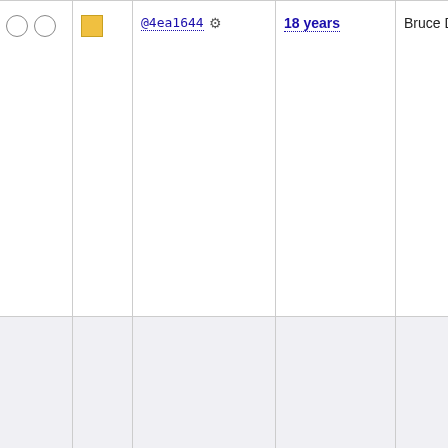| checks | icon | hash | age | author | tags/message |
| --- | --- | --- | --- | --- | --- |
| ○ ○ | □ | @4ea1644 ⚙ | 18 years | Bruce Dubbs | basic bdubbs/svn elogind gn... kde5-13430 kde5-14269 kde5-14686 krejzi/svn lazarus no... perl-modules qt5new sy... 11177 syste... 13485 trunk upgradedb xry111/intltoo... xry111/test- 20220226 |
|  |  |  |  |  | Round 2 of renaming package-na... entities git-s... id: … 10.0 10.1 11.0 11.1 6.0 6.2 6.2.0 6.2.0-rc1 6... rc2 6.3 6.3... 6.3-rc2 6.3... 7.10 7.4... |